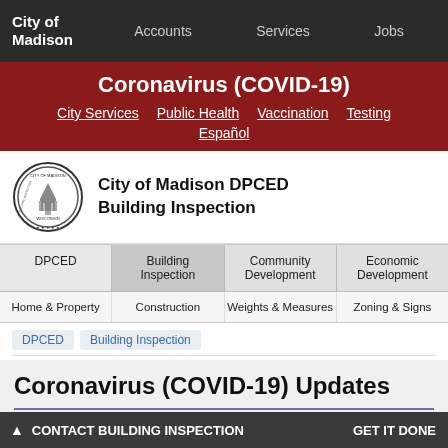City of Madison | Accounts | Services | Jobs
Coronavirus (COVID-19)
City Services | Public Health | Vaccination | Testing | Español
[Figure (logo): City of Madison seal/logo circular emblem]
City of Madison DPCED Building Inspection
DPCED | Building Inspection | Community Development | Economic Development
Home & Property | Construction | Weights & Measures | Zoning & Signs
DPCED > Building Inspection
Coronavirus (COVID-19) Updates
Building Inspection is open to the public by appointment only.
▲ CONTACT BUILDING INSPECTION   GET IT DONE